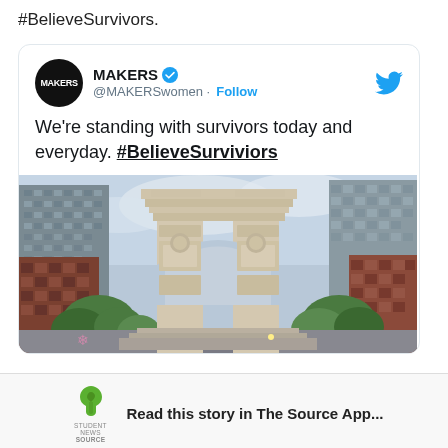#BelieveSurvivors.
[Figure (screenshot): Embedded tweet from MAKERS (@MAKERSwomen) with verified badge and Follow button. Tweet text: We’re standing with survivors today and everyday. #BelieveSurviviors. Below the text is a photo of Washington Square Park arch with New York City buildings in the background.]
Read this story in The Source App...
Open App   Continue in browser